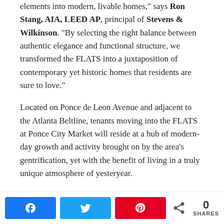elements into modern, livable homes," says Ron Stang, AIA, LEED AP, principal of Stevens & Wilkinson. "By selecting the right balance between authentic elegance and functional structure, we transformed the FLATS into a juxtaposition of contemporary yet historic homes that residents are sure to love."
Located on Ponce de Leon Avenue and adjacent to the Atlanta Beltline, tenants moving into the FLATS at Ponce City Market will reside at a hub of modern-day growth and activity brought on by the area’s gentrification, yet with the benefit of living in a truly unique atmosphere of yesteryear.
“The adaptive reuse of the FLATS is one of few current